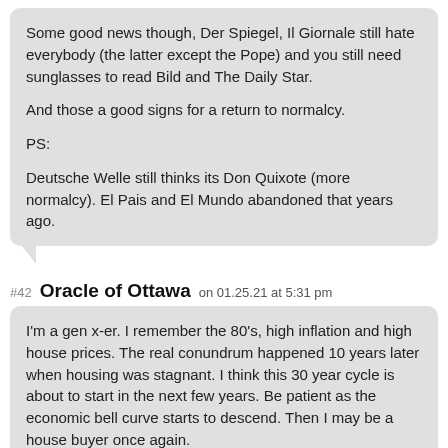Some good news though, Der Spiegel, Il Giornale still hate everybody (the latter except the Pope) and you still need sunglasses to read Bild and The Daily Star.

And those a good signs for a return to normalcy.

PS:

Deutsche Welle still thinks its Don Quixote (more normalcy). El Pais and El Mundo abandoned that years ago.
#42  Oracle of Ottawa  on 01.25.21 at 5:31 pm
I'm a gen x-er. I remember the 80's, high inflation and high house prices. The real conundrum happened 10 years later when housing was stagnant. I think this 30 year cycle is about to start in the next few years. Be patient as the economic bell curve starts to descend. Then I may be a house buyer once again.
#43  mark  on 01.25.21 at 5:33 pm